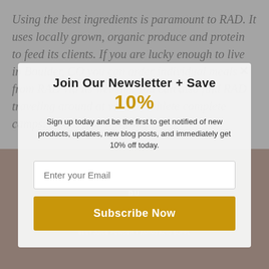Using the best ingredients is paramount to RAD. It uses locally grown, organic produce and protein to feed its clients. If you are lucky enough to live in Boulder, CO you can order individual meals from RAD via its website. You can also find RAD traveling around at various athlete complete camps, clinics and workshops.
[Figure (photo): Product photo showing ENDURO BETA RE Pre-Workout Performance Mint, Beet Juice Powder + Amino Acid supplement, with a red smoothie drink]
Join Our Newsletter + Save
10%
Sign up today and be the first to get notified of new products, updates, new blog posts, and immediately get 10% off today.